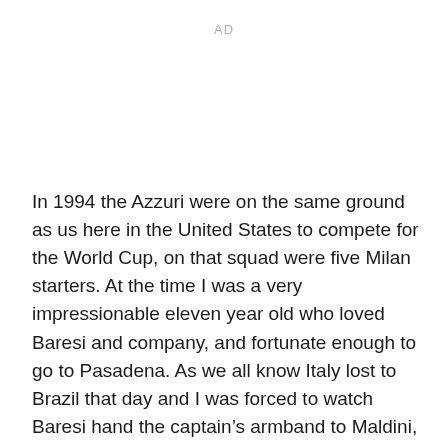AD
In 1994 the Azzuri were on the same ground as us here in the United States to compete for the World Cup, on that squad were five Milan starters. At the time I was a very impressionable eleven year old who loved Baresi and company, and fortunate enough to go to Pasadena. As we all know Italy lost to Brazil that day and I was forced to watch Baresi hand the captain’s armband to Maldini, both in tears. It was on that day I promised myself that I would respect Brazilians, but never favor them over Azzuri.